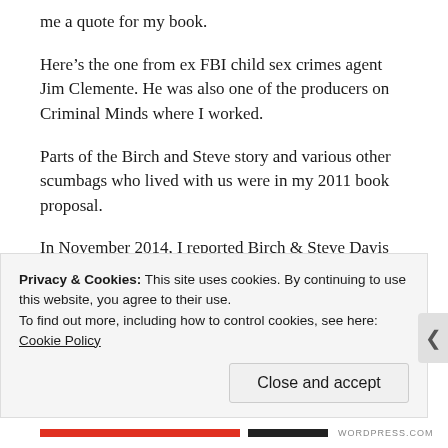me a quote for my book.
Here’s the one from ex FBI child sex crimes agent Jim Clemente. He was also one of the producers on Criminal Minds where I worked.
Parts of the Birch and Steve story and various other scumbags who lived with us were in my 2011 book proposal.
In November 2014, I reported Birch & Steve Davis and Ben Stein to my ex boss and ex FBI agent jim Clemente, who specialized in child sex crimes.
Since then in 2016 confirmed filed charges and has...[truncated]
Privacy & Cookies: This site uses cookies. By continuing to use this website, you agree to their use.
To find out more, including how to control cookies, see here: Cookie Policy
Close and accept